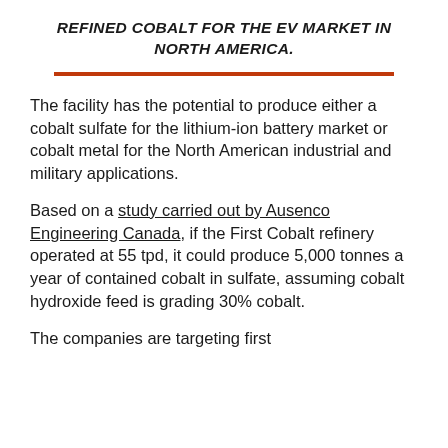REFINED COBALT FOR THE EV MARKET IN NORTH AMERICA.
The facility has the potential to produce either a cobalt sulfate for the lithium-ion battery market or cobalt metal for the North American industrial and military applications.
Based on a study carried out by Ausenco Engineering Canada, if the First Cobalt refinery operated at 55 tpd, it could produce 5,000 tonnes a year of contained cobalt in sulfate, assuming cobalt hydroxide feed is grading 30% cobalt.
The companies are targeting first